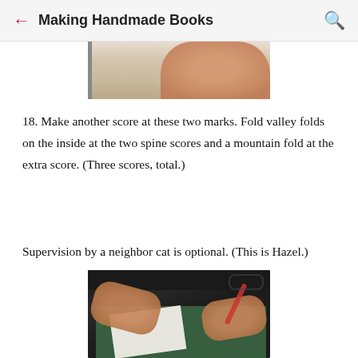Making Handmade Books
[Figure (photo): Partial photo of hands working with paper, cropped at top of page]
18. Make another score at these two marks. Fold valley folds on the inside at the two spine scores and a mountain fold at the extra score. (Three scores, total.)
Supervision by a neighbor cat is optional. (This is Hazel.)
[Figure (photo): Photo of hands using a pen/stylus tool on white paper on a green cutting mat, with glasses visible in background]